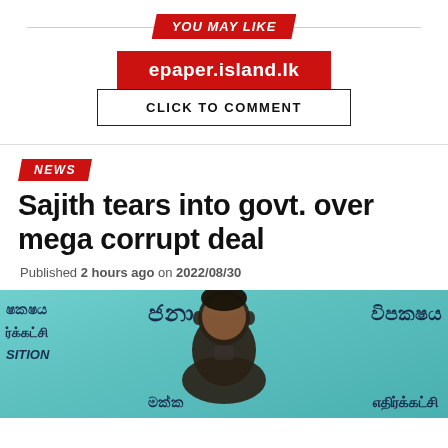YOU MAY LIKE
[Figure (other): epaper.island.lk red banner badge]
CLICK TO COMMENT
NEWS
Sajith tears into govt. over mega corrupt deal
Published 2 hours ago on 2022/08/30
[Figure (photo): Photo of Sajith Premadasa at a press conference with Sinhala and Tamil text banners reading 'Jana Vipaksaya' (People's Opposition) in the background]